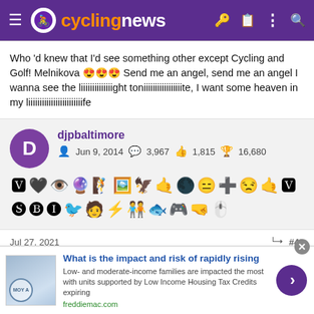cyclingnews
Who 'd knew that I'd see something other except Cycling and Golf! Melnikova 😍😍😍 Send me an angel, send me an angel I wanna see the liiiiiiiiiiiiiight toniiiiiiiiiiiiiiiiite, I want some heaven in my liiiiiiiiiiiiiiiiiiiiiiiife
djpbaltimore
Jun 9, 2014  3,967  1,815  16,680
Jul 27, 2021  #48
[Figure (screenshot): Advertisement banner: What is the impact and risk of rapidly rising. Low- and moderate-income families are impacted the most with units supported by Low Income Housing Tax Credits expiring. freddiemac.com]